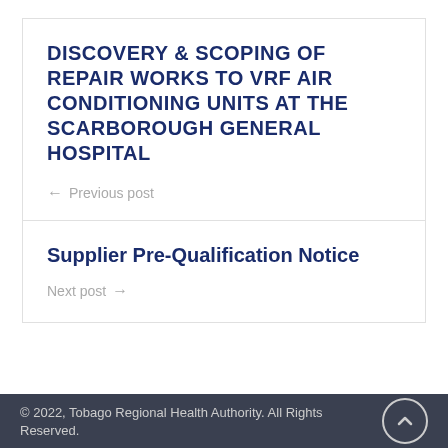DISCOVERY & SCOPING OF REPAIR WORKS TO VRF AIR CONDITIONING UNITS AT THE SCARBOROUGH GENERAL HOSPITAL
← Previous post
Supplier Pre-Qualification Notice
Next post →
© 2022, Tobago Regional Health Authority. All Rights Reserved.